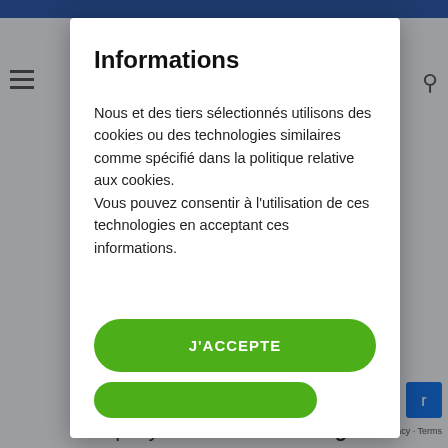Informations
Nous et des tiers sélectionnés utilisons des cookies ou des technologies similaires comme spécifié dans la politique relative aux cookies.
Vous pouvez consentir à l'utilisation de ces technologies en acceptant ces informations.
J'ACCEPTE
company's Demand Planning in